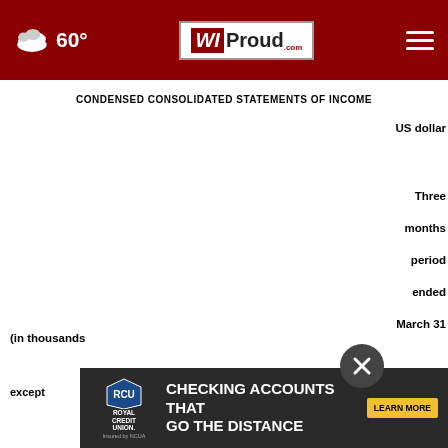60° WIProud.com
CONDENSED CONSOLIDATED STATEMENTS OF INCOME
| (in thousands except | Three months period ended March 31 | 2022 | 202... |
| --- | --- | --- | --- |